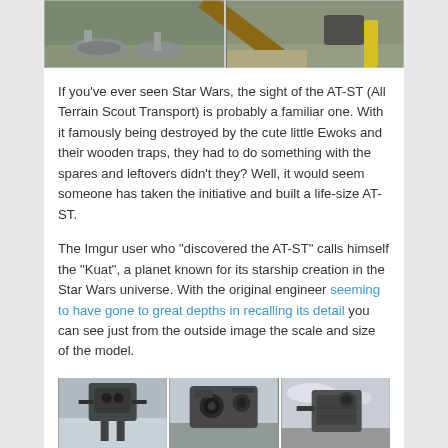[Figure (photo): Outdoor photo showing what appears to be parts of a life-size AT-ST model on grass, with wooden logs and a yellow post visible.]
If you’ve ever seen Star Wars, the sight of the AT-ST (All Terrain Scout Transport) is probably a familiar one. With it famously being destroyed by the cute little Ewoks and their wooden traps, they had to do something with the spares and leftovers didn’t they? Well, it would seem someone has taken the initiative and built a life-size AT-ST.
The Imgur user who “discovered the AT-ST” calls himself the “Kuat”, a planet known for its starship creation in the Star Wars universe. With the original engineer seeming to have gone to great depths in recalling its detail you can see just from the outside image the scale and size of the model.
[Figure (photo): Three side-by-side photos showing close-up details of the life-size AT-ST model, including mechanical parts, the head/cockpit, and other structural details.]